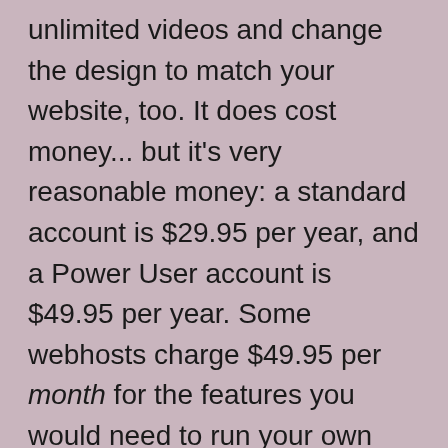unlimited videos and change the design to match your website, too. It does cost money... but it's very reasonable money: a standard account is $29.95 per year, and a Power User account is $49.95 per year. Some webhosts charge $49.95 per month for the features you would need to run your own gallery! The next step up, Professional, is a very reasonable $99.95 per year, and comes with Guest passwords for adding (but not deleting) photos, use of your own domain, automated watermarks, and print sales.
So I've narrowed this listing down to getting...